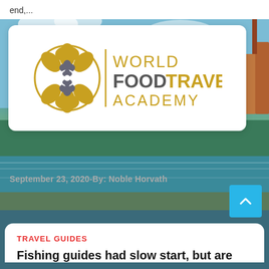end,...
[Figure (logo): World Food Travel Academy logo: circular ornamental design in gold/grey with text WORLD FOODTRAVEL ACADEMY]
September 23, 2020-By: Noble Horvath
TRAVEL GUIDES
Fishing guides had slow start, but are